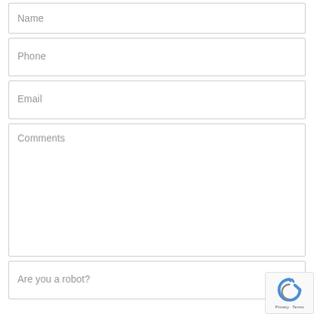Name
Phone
Email
Comments
Are you a robot?
[Figure (logo): reCAPTCHA badge with refresh icon and Privacy - Terms text]